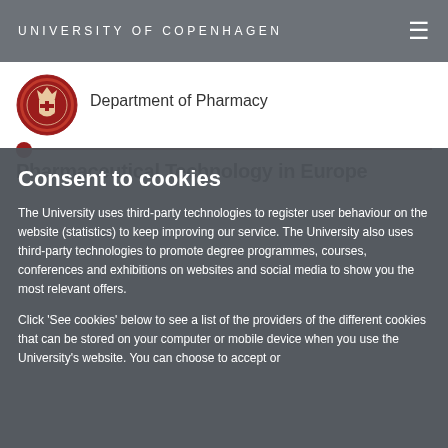UNIVERSITY OF COPENHAGEN
[Figure (logo): University of Copenhagen circular red seal/crest logo]
Department of Pharmacy
Pharmaceutical Technology in Europe
Consent to cookies
The University uses third-party technologies to register user behaviour on the website (statistics) to keep improving our service. The University also uses third-party technologies to promote degree programmes, courses, conferences and exhibitions on websites and social media to show you the most relevant offers.
Click 'See cookies' below to see a list of the providers of the different cookies that can be stored on your computer or mobile device when you use the University's website. You can choose to accept or